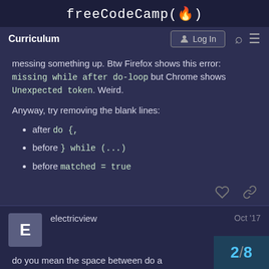freeCodeCamp(🔥)
messing something up. Btw Firefox shows this error: missing while after do-loop but Chrome shows Unexpected token. Weird.
Anyway, try removing the blank lines:
after do {,
before } while (...)
before matched = true
electricview  Oct '17
do you mean the space between do a